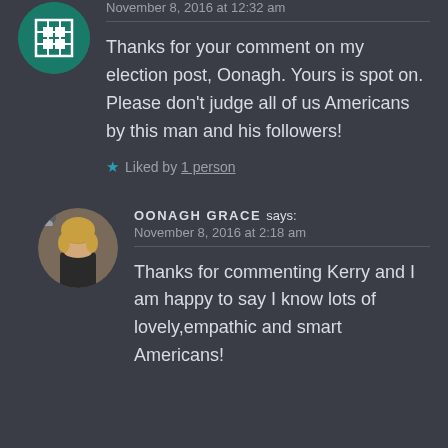November 8, 2016 at 12:32 am
Thanks for your comment on my election post, Oonagh. Yours is spot on. Please don't judge all of us Americans by this man and his followers!
Liked by 1 person
OONAGH GRACE says:
November 8, 2016 at 2:18 am
Thanks for commenting Kerry and I am happy to say I know lots of lovely,empathic and smart Americans!